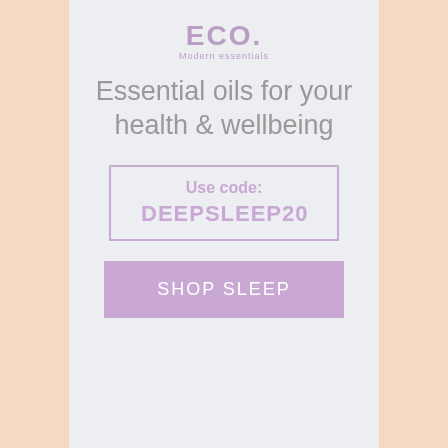[Figure (logo): ECO. Modern essentials logo in purple/lavender color]
Essential oils for your health & wellbeing
Use code: DEEPSLEEP20
SHOP SLEEP